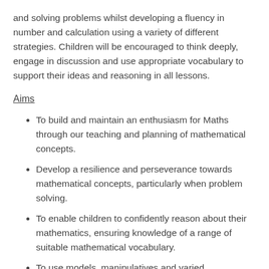and solving problems whilst developing a fluency in number and calculation using a variety of different strategies. Children will be encouraged to think deeply, engage in discussion and use appropriate vocabulary to support their ideas and reasoning in all lessons.
Aims
To build and maintain an enthusiasm for Maths through our teaching and planning of mathematical concepts.
Develop a resilience and perseverance towards mathematical concepts, particularly when problem solving.
To enable children to confidently reason about their mathematics, ensuring knowledge of a range of suitable mathematical vocabulary.
To use models, manipulatives and varied